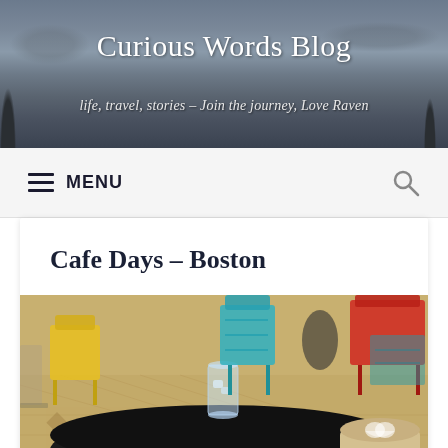[Figure (photo): Blog header banner with cityscape background showing Boston skyline with bare trees and overcast sky]
Curious Words Blog
life, travel, stories – Join the journey, Love Raven
≡ MENU
Cafe Days – Boston
[Figure (photo): Interior of a Boston cafe showing a round black table with a glass of water and a latte, colorful chairs (yellow, teal, red) in the background, and patterned tile floor]